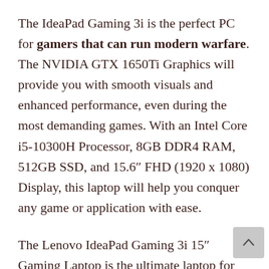The IdeaPad Gaming 3i is the perfect PC for gamers that can run modern warfare. The NVIDIA GTX 1650Ti Graphics will provide you with smooth visuals and enhanced performance, even during the most demanding games. With an Intel Core i5-10300H Processor, 8GB DDR4 RAM, 512GB SSD, and 15.6″ FHD (1920 x 1080) Display, this laptop will help you conquer any game or application with ease.
The Lenovo IdeaPad Gaming 3i 15″ Gaming Laptop is the ultimate laptop for gamers, with a powerful Intel Core i5-10300H processor and NVIDIA GTX 1650Ti graphics. It's ready to play your favorite games right out of the box, so you'll